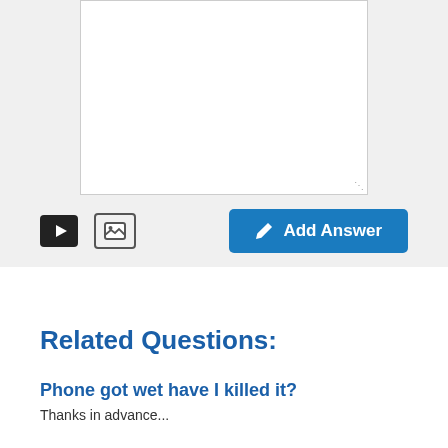[Figure (screenshot): Text input area (textarea) with white background and resize handle in bottom-right corner, part of a Q&A web interface]
[Figure (screenshot): Toolbar with video icon button, image icon button on left, and blue 'Add Answer' button with pencil icon on right]
Related Questions:
Phone got wet have I killed it?
Thanks in advance...